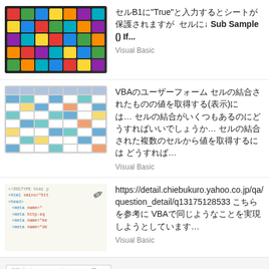セルB1に"True"と入力するとシートが保護されますが Sub Sample() If... Visual Basic
VBAのユーザーフォーム セルの結合されたものの値を取得する(表示)には... セルの結合がいくつもあるのにどう... Visual Basic
https://detail.chiebukuro.yahoo.co.jp/qa/question_detail/q13175128533 こちらを参考にVBAで同じようなことを実現しようとしています... Visual Basic
関連するQ&Aをもっと見る
ＮＥＷＳ　ＮＥＷＳとかいうジャニーズのやつって とくに何したってわけでもないのに なんか特別扱いされているような　それとも知らないだけで何かしたんですか